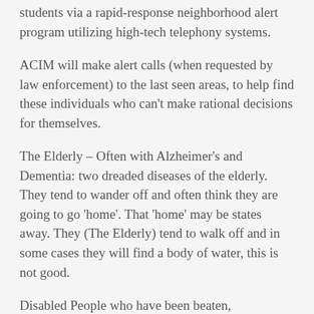students via a rapid-response neighborhood alert program utilizing high-tech telephony systems.
ACIM will make alert calls (when requested by law enforcement) to the last seen areas, to help find these individuals who can’t make rational decisions for themselves.
The Elderly – Often with Alzheimer’s and Dementia: two dreaded diseases of the elderly. They tend to wander off and often think they are going to go ‘home’. That ‘home’ may be states away. They (The Elderly) tend to walk off and in some cases they will find a body of water, this is not good.
Disabled People who have been beaten, unconscious, or are suffering from memory loss. We will send out alert calls to find the guardian...